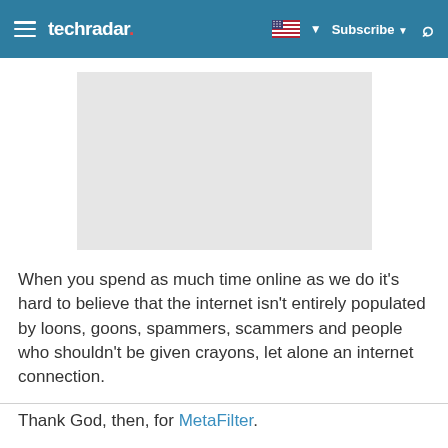techradar | Subscribe | [search icon]
[Figure (other): Gray placeholder image block, approximately rectangular, light gray background]
When you spend as much time online as we do it's hard to believe that the internet isn't entirely populated by loons, goons, spammers, scammers and people who shouldn't be given crayons, let alone an internet connection.

Thank God, then, for MetaFilter.